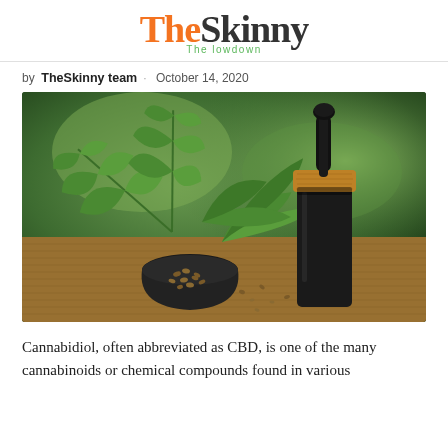TheSkinny — The lowdown
by TheSkinny team · October 14, 2020
[Figure (photo): A black dropper bottle with wooden cap next to a small bowl filled with cannabis seeds, cannabis plant leaves in background, all on burlap fabric, outdoors green bokeh background]
Cannabidiol, often abbreviated as CBD, is one of the many cannabinoids or chemical compounds found in various